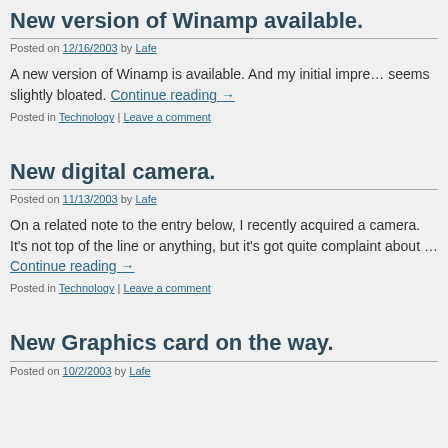New version of Winamp available.
Posted on 12/16/2003 by Lafe
A new version of Winamp is available. And my initial impre… seems slightly bloated. Continue reading →
Posted in Technology | Leave a comment
New digital camera.
Posted on 11/13/2003 by Lafe
On a related note to the entry below, I recently acquired a camera. It's not top of the line or anything, but it's got quite complaint about … Continue reading →
Posted in Technology | Leave a comment
New Graphics card on the way.
Posted on 10/2/2003 by Lafe